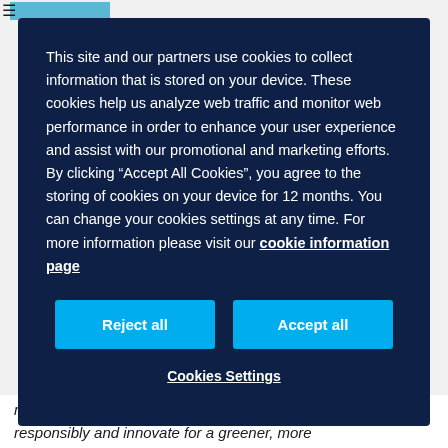This site and our partners use cookies to collect information that is stored on your device. These cookies help us analyze web traffic and monitor web performance in order to enhance your user experience and assist with our promotional and marketing efforts. By clicking “Accept All Cookies”, you agree to the storing of cookies on your device for 12 months. You can change your cookies settings at any time. For more information please visit our cookie information page
Reject all
Accept all
Cookies Settings
make important strides to operate more responsibly and innovate for a greener, more